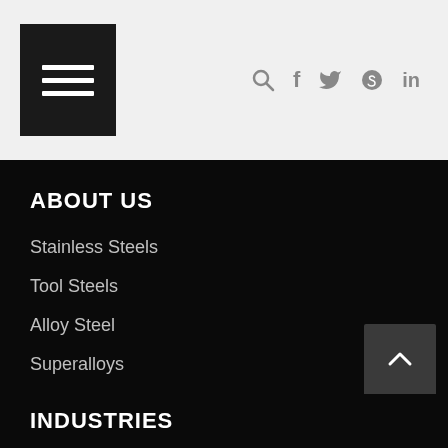Navigation header with hamburger menu and social icons (search, facebook, twitter, skype, linkedin)
ABOUT US
Stainless Steels
Tool Steels
Alloy Steel
Superalloys
Special Steel
INDUSTRIES